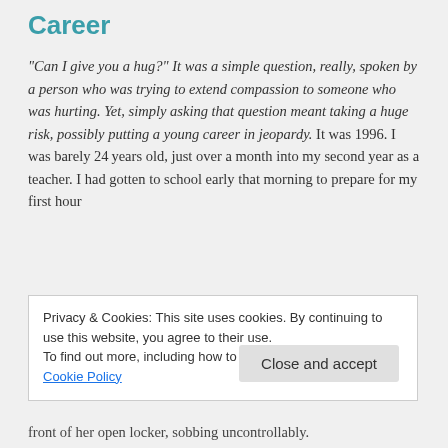Career
“Can I give you a hug?” It was a simple question, really, spoken by a person who was trying to extend compassion to someone who was hurting. Yet, simply asking that question meant taking a huge risk, possibly putting a young career in jeopardy. It was 1996. I was barely 24 years old, just over a month into my second year as a teacher. I had gotten to school early that morning to prepare for my first hour
Privacy & Cookies: This site uses cookies. By continuing to use this website, you agree to their use.
To find out more, including how to control cookies, see here: Cookie Policy
front of her open locker, sobbing uncontrollably.